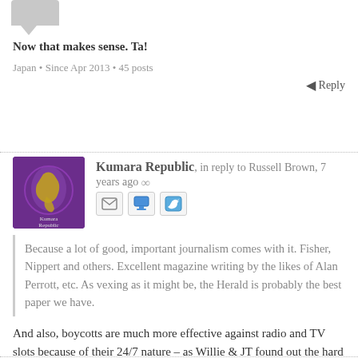Now that makes sense. Ta!
Japan • Since Apr 2013 • 45 posts
Reply
Kumara Republic, in reply to Russell Brown, 7 years ago
Because a lot of good, important journalism comes with it. Fisher, Nippert and others. Excellent magazine writing by the likes of Alan Perrott, etc. As vexing as it might be, the Herald is probably the best paper we have.
And also, boycotts are much more effective against radio and TV slots because of their 24/7 nature – as Willie & JT found out the hard way with the Roastbusters controversy.
The southernmost capital ... • Since Nov 2006 • 5445 posts
Reply